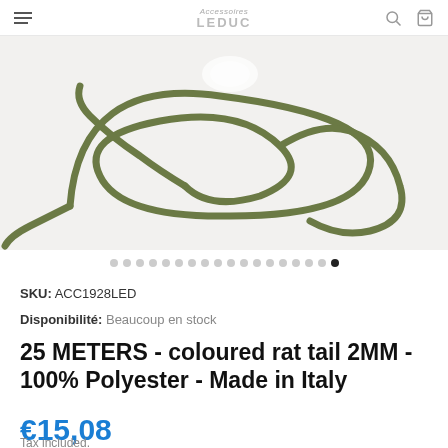Accessoires LEDUC
[Figure (photo): Product photo showing olive green/khaki coloured rat tail cord (2mm polyester) coiled loosely on a white background]
SKU: ACC1928LED
Disponibilité: Beaucoup en stock
25 METERS - coloured rat tail 2MM - 100% Polyester - Made in Italy
€15,08
Tax included.